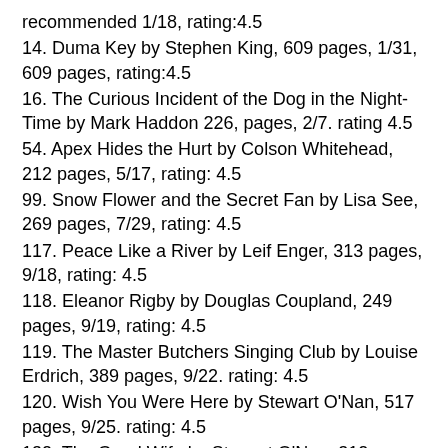recommended 1/18, rating:4.5
14. Duma Key by Stephen King, 609 pages, 1/31, 609 pages, rating:4.5
16. The Curious Incident of the Dog in the Night-Time by Mark Haddon 226, pages, 2/7. rating 4.5
54. Apex Hides the Hurt by Colson Whitehead, 212 pages, 5/17, rating: 4.5
99. Snow Flower and the Secret Fan by Lisa See, 269 pages, 7/29, rating: 4.5
117. Peace Like a River by Leif Enger, 313 pages, 9/18, rating: 4.5
118. Eleanor Rigby by Douglas Coupland, 249 pages, 9/19, rating: 4.5
119. The Master Butchers Singing Club by Louise Erdrich, 389 pages, 9/22. rating: 4.5
120. Wish You Were Here by Stewart O'Nan, 517 pages, 9/25. rating: 4.5
132. The Good Wife by Stewart O'Nan, 312 pages, 10/15, rating: 4.5
130. The Miracle Life of Edgar Mint by Brady Udall, 423 pages, 10/11, rating: 4.5
138. Snow Angels by Stewart O'Nan, 305 pages, 10/28.